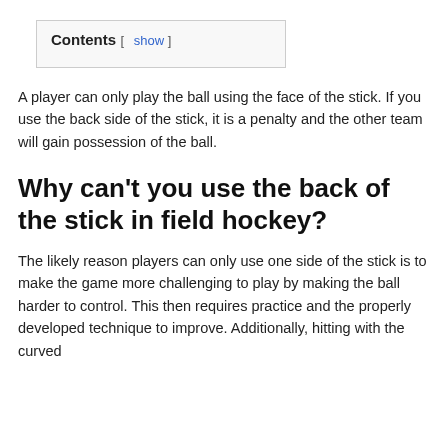Contents [ show ]
A player can only play the ball using the face of the stick. If you use the back side of the stick, it is a penalty and the other team will gain possession of the ball.
Why can't you use the back of the stick in field hockey?
The likely reason players can only use one side of the stick is to make the game more challenging to play by making the ball harder to control. This then requires practice and the properly developed technique to improve. Additionally, hitting with the curved